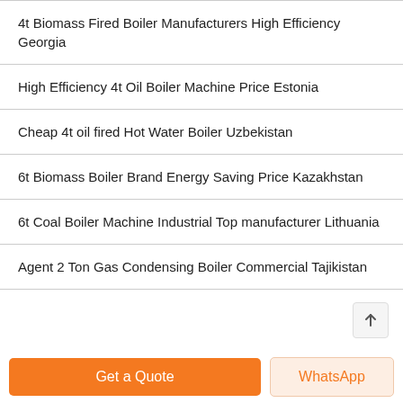4t Biomass Fired Boiler Manufacturers High Efficiency Georgia
High Efficiency 4t Oil Boiler Machine Price Estonia
Cheap 4t oil fired Hot Water Boiler Uzbekistan
6t Biomass Boiler Brand Energy Saving Price Kazakhstan
6t Coal Boiler Machine Industrial Top manufacturer Lithuania
Agent 2 Ton Gas Condensing Boiler Commercial Tajikistan
Get a Quote
WhatsApp